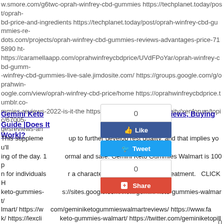w.smore.com/g6twc-oprah-winfrey-cbd-gummies https://techplanet.today/post/oprah-bd-price-and-ingredients https://techplanet.today/post/oprah-winfrey-cbd-gummies-re-dots.com/projects/oprah-winfrey-cbd-gummies-reviews-advantages-price-715890 ht-https://caramellaapp.com/oprahwinfreycbdprice/UVdFPoYar/oprah-winfrey-cbd-gumm--winfrey-cbd-gummies-live-sale.jimdosite.com/ https://groups.google.com/g/oprahwin-oogle.com/view/oprah-winfrey-cbd-price/home https://oprahwinfreycbdprice.tumblr.co-mmmies-reviews-2022-is-it-the https://www.rcm8.net/community/xenforum/topic/67005-gesreviews-and
Gemini Keto Gummies Walmart: Reviews, Buying Guide |Does It Work|?
This supplement... up to further develop rest quality, and that implies you'll... ing of the day. 1... ormal and safe: Gemini Keto Gummies Walmart is 100 p... n for individuals... r a characteristic weight reduction treatment. CLICK HE... keto-gummies-... s://sites.google.com/view/gemini-keto-gummies-walmart/... lmart/ https://w... com/geminiketogummieswalmartreviews/ https://www.fa... k/ https://lexcli... keto-gummies-walmart/ https://twitter.com/geminiketopill... m-your-phone/... nini-keto-gummies-walmart-a-weight-loss-pills-is-gemini-... e.blogspot.com/2022/04/GeminiKetoGummiesWalmart.html https://lexcliq.com/gemini-... day/post/results-of-gemini-keto-gummies-walmart-reviews-official-website-is-gemini-k... eswalmart.tumblr.com/ https://the-dots.com/projects/gemini-keto-gummies-walmart-r-... -the-money-or-fake-724557 https://gemini-keto-gummies-walmart-official.jimdosite.co... mies-walmart/ https://caramellaapp.com/geminiketogummypill/NeUGlKj2Z/gemini-ke... 8357-Gemini-Keto-Gummies-Walmart-Where-To-Buy-SCAM-Ingredients https://www-... o-gummies-walmart-is-it-scam-ingredientsread-this-before-buyread-this-before-usein-... A/ https://wke.lt/w/s/KYPeam https://www.police1.com/police-jobs/united-states-ny-ge... e-effect-best-results-works-buy-ePWv8UArYsYlxfqr/ https://www.bulbapp.com/u/gem-... dients-buy-now https://www.thetravelbrief.com/tips/united-sateses-gemini-keto-gumm-... ey-or-fake https://www.rcm8.net/community/xenforum/topic/68929/gemini-keto-gumm-...